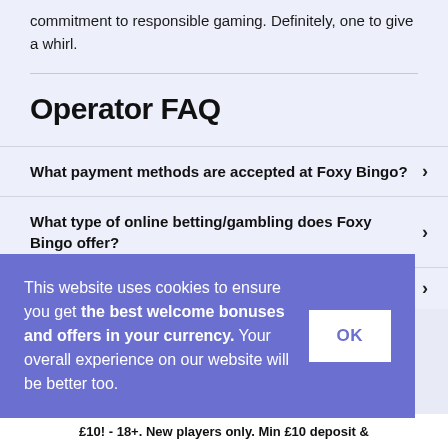commitment to responsible gaming. Definitely, one to give a whirl.
Operator FAQ
What payment methods are accepted at Foxy Bingo?
What type of online betting/gambling does Foxy Bingo offer?
This website uses cookies to ensure you get the best welcome bonuses and offers in your currency. Your overall experience on our website will be better too.
£10! - 18+. New players only. Min £10 deposit &